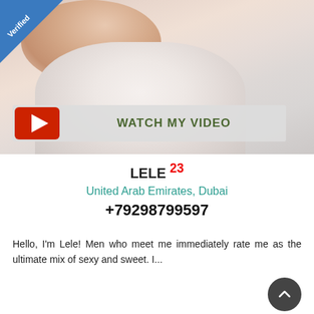[Figure (photo): Close-up photo of a blonde woman with fair skin, partially covered by white fabric or clothing. A 'Verified' badge appears in the top-left corner and a 'WATCH MY VIDEO' button overlays the lower portion of the image.]
LELE 23
United Arab Emirates, Dubai
+79298799597
Hello, I'm Lele! Men who meet me immediately rate me as the ultimate mix of sexy and sweet. I...